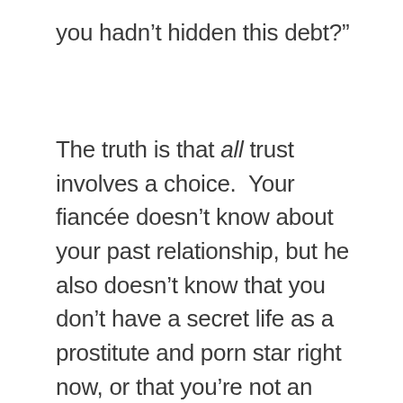you hadn’t hidden this debt?”
The truth is that all trust involves a choice.  Your fiancée doesn’t know about your past relationship, but he also doesn’t know that you don’t have a secret life as a prostitute and porn star right now, or that you’re not an international dealer in drugs and poison gas weapons, or that you’re not a serial killer.  Sure, he has no reason to think you’re any of those things, but he